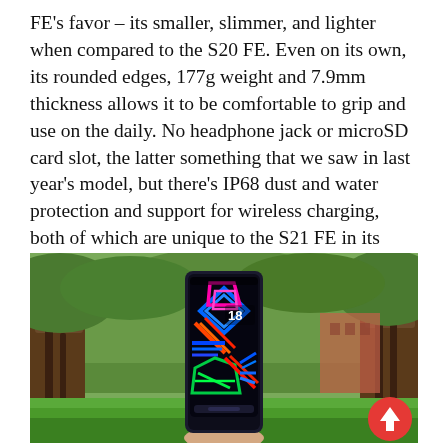FE's favor – its smaller, slimmer, and lighter when compared to the S20 FE. Even on its own, its rounded edges, 177g weight and 7.9mm thickness allows it to be comfortable to grip and use on the daily. No headphone jack or microSD card slot, the latter something that we saw in last year's model, but there's IP68 dust and water protection and support for wireless charging, both of which are unique to the S21 FE in its price range. On flagships, it feels like a hygiene factor, but in this category, these two could be a strong reason to consider the S21 FE if having both of these features matter to you.
[Figure (photo): A hand holding a Samsung Galaxy S21 FE smartphone displaying a colorful geometric wallpaper with neon geometric shapes on the screen, photographed outdoors in a park setting with trees and greenery in the background. A red scroll-to-top button is visible in the bottom-right corner of the image.]